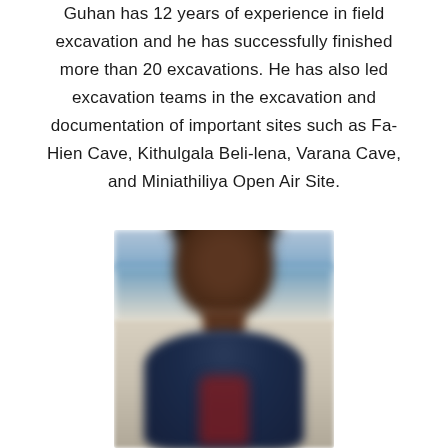Guhan has 12 years of experience in field excavation and he has successfully finished more than 20 excavations. He has also led excavation teams in the excavation and documentation of important sites such as Fa-Hien Cave, Kithulgala Beli-lena, Varana Cave, and Miniathiliya Open Air Site.
[Figure (photo): A blurred portrait photograph of a person (presumably Guhan) with dark hair, wearing a dark blue jacket and red/maroon shirt, photographed against a blue and beige background.]